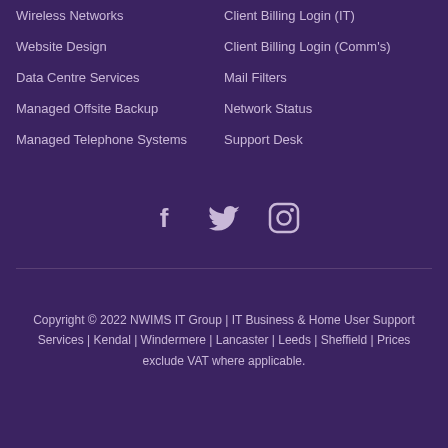Wireless Networks
Client Billing Login (IT)
Website Design
Client Billing Login (Comm's)
Data Centre Services
Mail Filters
Managed Offsite Backup
Network Status
Managed Telephone Systems
Support Desk
[Figure (illustration): Social media icons: Facebook, Twitter, Instagram]
Copyright © 2022 NWIMS IT Group | IT Business & Home User Support Services | Kendal | Windermere | Lancaster | Leeds | Sheffield | Prices exclude VAT where applicable.